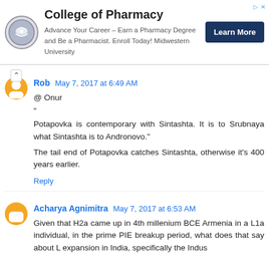[Figure (other): Advertisement banner for College of Pharmacy at Midwestern University with logo, text, and Learn More button]
Rob May 7, 2017 at 6:49 AM
@ Onur
"
Potapovka is contemporary with Sintashta. It is to Srubnaya what Sintashta is to Andronovo."

The tail end of Potapovka catches Sintashta, otherwise it's 400 years earlier.
Reply
Acharya Agnimitra May 7, 2017 at 6:53 AM
Given that H2a came up in 4th millenium BCE Armenia in a L1a individual, in the prime PIE breakup period, what does that say about L expansion in India, specifically the Indus